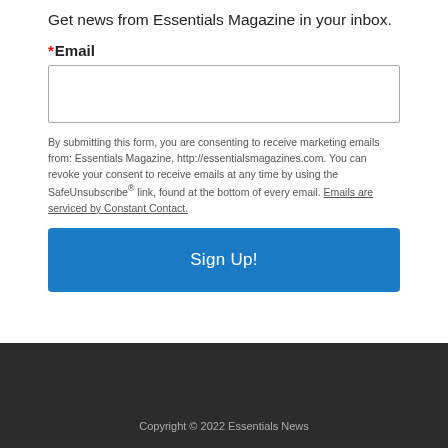Get news from Essentials Magazine in your inbox.
*Email
By submitting this form, you are consenting to receive marketing emails from: Essentials Magazine, http://essentialsmagazines.com. You can revoke your consent to receive emails at any time by using the SafeUnsubscribe® link, found at the bottom of every email. Emails are serviced by Constant Contact.
Sign Up!
Copyright © 2022 Essentials News